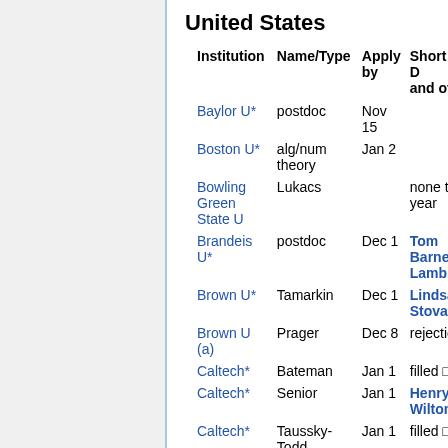United States
| Institution | Name/Type | Apply by | Short D and off |
| --- | --- | --- | --- |
| Baylor U* | postdoc | Nov 15 |  |
| Boston U* | alg/num theory | Jan 2 |  |
| Bowling Green State U | Lukacs |  | none th year |
| Brandeis U* | postdoc | Dec 1 | Tom Barnett Lamb |
| Brown U* | Tamarkin | Dec 1 | Lindsay Stovall |
| Brown U (a) | Prager | Dec 8 | rejection |
| Caltech* | Bateman | Jan 1 | filled □ |
| Caltech* | Senior | Jan 1 | Henry Wilton |
| Caltech* | Taussky-Todd | Jan 1 | filled □ |
| Carnegie Mellon U* | applied anal | Jan 12 |  |